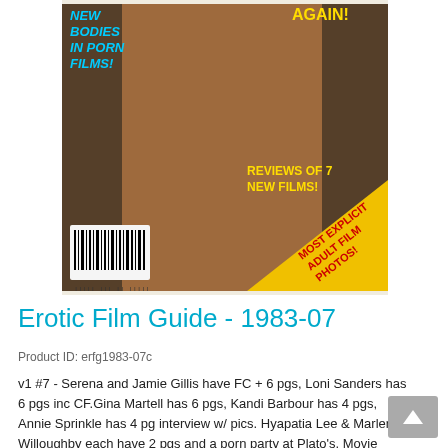[Figure (photo): Magazine cover of Erotic Film Guide 1983-07 showing adult content with text overlays: 'NEW BODIES IN PORN FILMS!', 'AGAIN!', 'REVIEWS OF 7 NEW FILMS!', 'MOST EXPLICIT ADULT FILM PHOTOS!' with a yellow triangle banner and barcode visible.]
Erotic Film Guide - 1983-07
Product ID: erfg1983-07c
v1 #7 - Serena and Jamie Gillis have FC + 6 pgs, Loni Sanders has 6 pgs inc CF.Gina Martell has 6 pgs, Kandi Barbour has 4 pgs, Annie Sprinkle has 4 pg interview w/ pics. Hyapatia Lee & Marlene Willoughby each have 2 pgs and a porn party at Plato's. Movie reviews of 'Hollywood Confidential', 'Up 'N Coming', 'Satisfactions', Scoundrels!, 'Sorority Sweethearts' and 'Moaners'. Bright & glossy, a